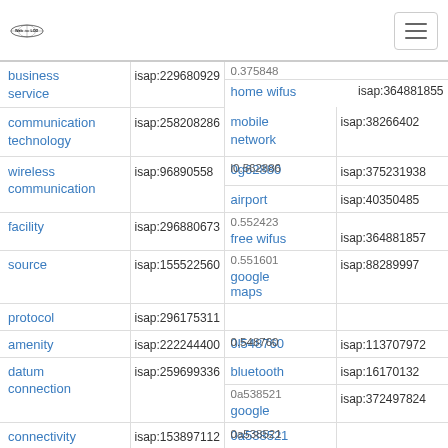[Figure (logo): Web isa LOD globe logo with hamburger menu button]
| Term | ISAP | Term | ISAP |
| --- | --- | --- | --- |
| business service | isap:229680929 | home wifus | isap:364881855 |
| communication technology | isap:258208286 | mobile network | isap:38266402 |
| wireless communication | isap:96890558 | 0.562880 / 0g62880 | isap:375231938 |
| facility | isap:296880673 | airport / 0.552423 | isap:40350485 |
|  |  | free wifus / 0.551601 | isap:364881857 |
| source | isap:155522560 | google maps | isap:88289997 |
| protocol | isap:296175311 |  |  |
| amenity | isap:222244400 | 0.548760 / 0l548760 | isap:113707972 |
| datum connection | isap:259699336 | bluetooth | isap:16170132 |
|  |  | google / 0a538521 | isap:372497824 |
| connectivity | isap:153897112 | 0a538521 |  |